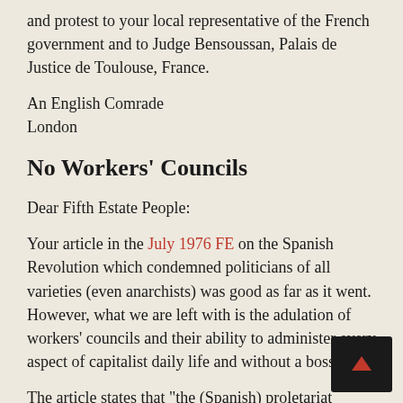and protest to your local representative of the French government and to Judge Bensoussan, Palais de Justice de Toulouse, France.
An English Comrade
London
No Workers' Councils
Dear Fifth Estate People:
Your article in the July 1976 FE on the Spanish Revolution which condemned politicians of all varieties (even anarchists) was good as far as it went. However, what we are left with is the adulation of workers' councils and their ability to administer every aspect of capitalist daily life and without a boss.
The article states that “the (Spanish) proletariat proved capable of administering and improving a modern urban economy, increasing productivity while maintaining necessary services” (emphasis added)